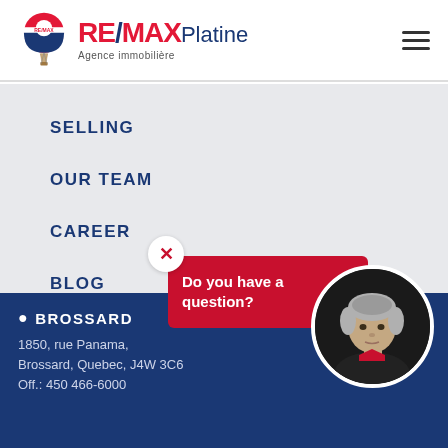[Figure (logo): RE/MAX Platine logo with hot air balloon and text 'RE/MAX Platine - Agence immobilière']
SELLING
OUR TEAM
CAREER
BLOG
CONTACT
Do you have a question?
[Figure (photo): Circular photo of a middle-aged man with grey hair]
BROSSARD
1850, rue Panama, Brossard, Quebec, J4W 3C6
Off.: 450 466-6000